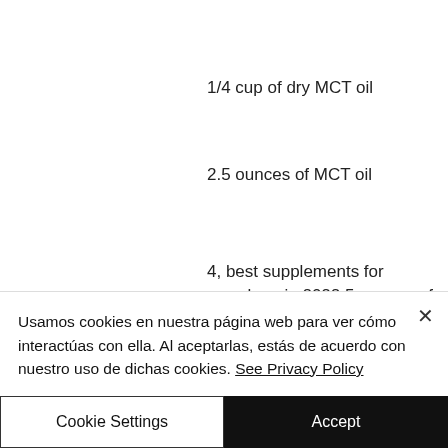1/4 cup of dry MCT oil
2.5 ounces of MCT oil
4, best supplements for muscle gain 2022.5 ounces of ground up coconut (from coconut oil)
1.5 ounces of MCT oil + ground up coconut
Dairy products like skim milk, low-fat
Usamos cookies en nuestra página web para ver cómo interactúas con ella. Al aceptarlas, estás de acuerdo con nuestro uso de dichas cookies. See Privacy Policy